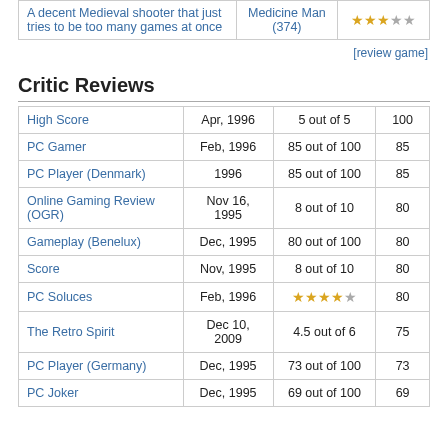| Review text | Source | Score |
| --- | --- | --- |
| A decent Medieval shooter that just tries to be too many games at once | Medicine Man (374) | ★★★★☆ |
[review game]
Critic Reviews
| Publication | Date | Score | Numeric |
| --- | --- | --- | --- |
| High Score | Apr, 1996 | 5 out of 5 | 100 |
| PC Gamer | Feb, 1996 | 85 out of 100 | 85 |
| PC Player (Denmark) | 1996 | 85 out of 100 | 85 |
| Online Gaming Review (OGR) | Nov 16, 1995 | 8 out of 10 | 80 |
| Gameplay (Benelux) | Dec, 1995 | 80 out of 100 | 80 |
| Score | Nov, 1995 | 8 out of 10 | 80 |
| PC Soluces | Feb, 1996 | ★★★★☆ | 80 |
| The Retro Spirit | Dec 10, 2009 | 4.5 out of 6 | 75 |
| PC Player (Germany) | Dec, 1995 | 73 out of 100 | 73 |
| PC Joker | Dec, 1995 | 69 out of 100 | 69 |